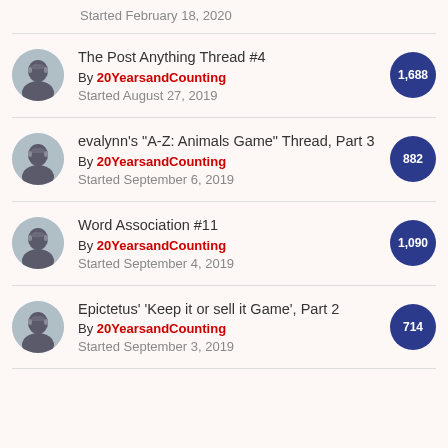Started February 18, 2020
The Post Anything Thread #4 | By 20YearsandCounting | Started August 27, 2019 | 1,688
evalynn's "A-Z: Animals Game" Thread, Part 3 | By 20YearsandCounting | Started September 6, 2019 | 882
Word Association #11 | By 20YearsandCounting | Started September 4, 2019 | 1,090
Epictetus' 'Keep it or sell it Game', Part 2 | By 20YearsandCounting | Started September 3, 2019 | 714